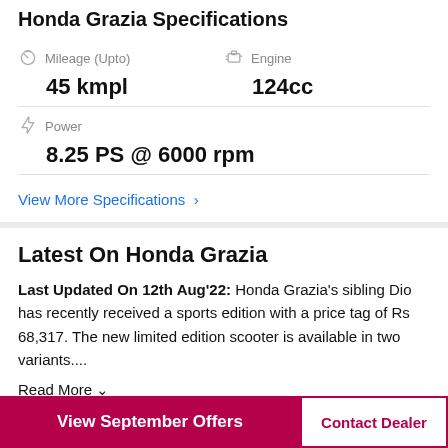Honda Grazia Specifications
| Spec | Value |
| --- | --- |
| Mileage (Upto) | 45 kmpl |
| Engine | 124cc |
| Power | 8.25 PS @ 6000 rpm |
View More Specifications >
Latest On Honda Grazia
Last Updated On 12th Aug'22: Honda Grazia's sibling Dio has recently received a sports edition with a price tag of Rs 68,317. The new limited edition scooter is available in two variants....
Read More ∨
Ad
View September Offers
Contact Dealer